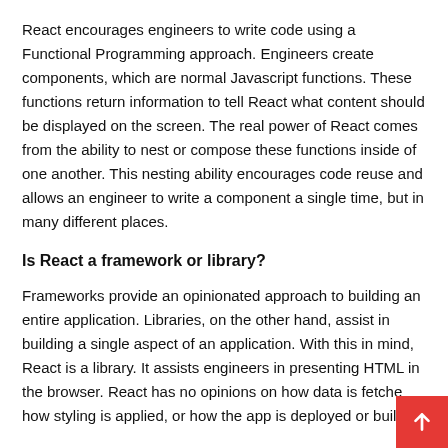React encourages engineers to write code using a Functional Programming approach. Engineers create components, which are normal Javascript functions. These functions return information to tell React what content should be displayed on the screen. The real power of React comes from the ability to nest or compose these functions inside of one another. This nesting ability encourages code reuse and allows an engineer to write a component a single time, but in many different places.
Is React a framework or library?
Frameworks provide an opinionated approach to building an entire application. Libraries, on the other hand, assist in building a single aspect of an application. With this in mind, React is a library. It assists engineers in presenting HTML in the browser. React has no opinions on how data is fetched, how styling is applied, or how the app is deployed or built.